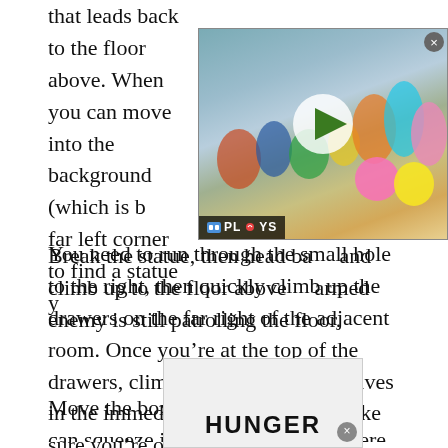that leads back to the floor above. When you can move into the background (which is b... far left corner to find a statue y...
[Figure (screenshot): Video thumbnail showing Super Smash Bros characters with a play button overlay and PLAYS branding at bottom left. A close (X) button is at top right.]
Break the statue, then head ba... and climb up to the floor above... armed enemy is still patrolling the floor.
You need to run through the small hole to the right, then quickly climb up the drawers on the far right of the adjacent room. Once you’re at the top of the drawers, climb up on top of the shelves in the immediate background to make sure you’re out of the reach of the enemy.
Move the box out of the way so you can squeeze into the hole o... n. There
[Figure (screenshot): Advertisement banner at bottom, partially visible, showing the word HUNGER in large bold letters.]